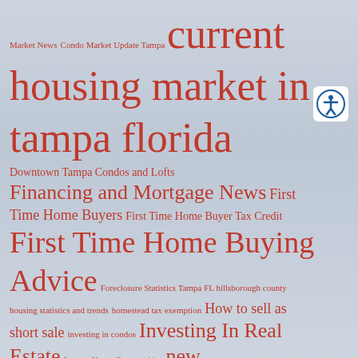[Figure (infographic): A tag cloud / word cloud featuring real estate topics related to Tampa, Florida. Words appear in various sizes in red/crimson color on a light blue-grey background. The largest words include 'current housing market in tampa florida', 'First Time Home Buying Advice', 'Investing In Real Estate', 'new construction tampa', 'Relocating to Tampa'. Smaller words include 'Market News', 'Condo Market Update Tampa', 'Downtown Tampa Condos and Lofts', 'Financing and Mortgage News', 'First Time Home Buyers', 'First Time Home Buyer Tax Credit', 'Foreclosure Statistics Tampa FL', 'hillsborough county housing statistics and trends', 'homestead tax exemption', 'How to sell as short sale', 'investing in condos', 'Luxury Home Communities', 'property tax update', 'Real Estate Investing Tampa', 'real estate market tampa', 'real estate news', 'Selling Your Home'. An accessibility icon (person in circle) appears in the upper right.]